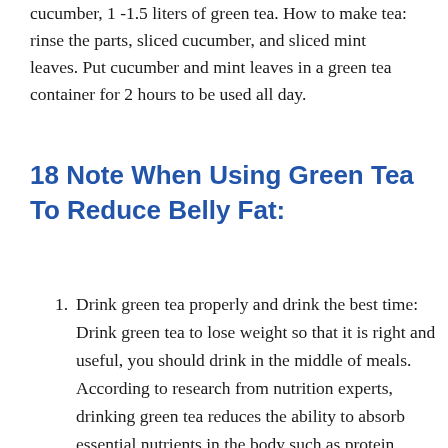cucumber, 1 -1.5 liters of green tea. How to make tea: rinse the parts, sliced cucumber, and sliced mint leaves. Put cucumber and mint leaves in a green tea container for 2 hours to be used all day.
18 Note When Using Green Tea To Reduce Belly Fat:
Drink green tea properly and drink the best time: Drink green tea to lose weight so that it is right and useful, you should drink in the middle of meals. According to research from nutrition experts, drinking green tea reduces the ability to absorb essential nutrients in the body such as protein, fat…